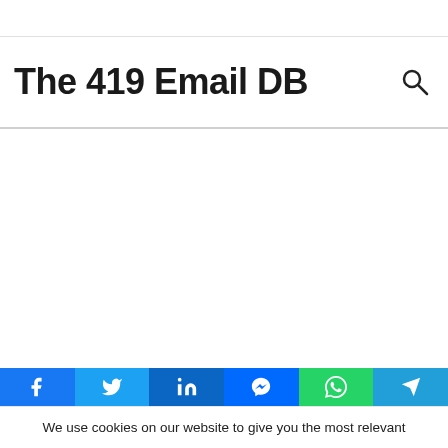The 419 Email DB
We use cookies on our website to give you the most relevant